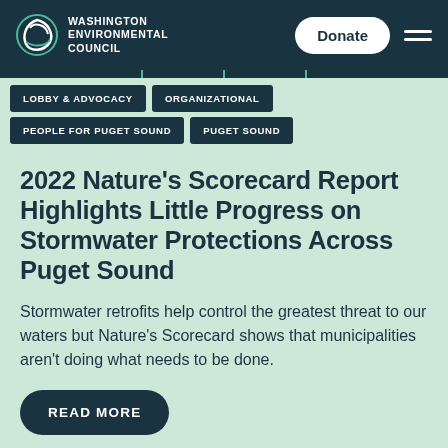Washington Environmental Council
LOBBY & ADVOCACY
ORGANIZATIONAL
PEOPLE FOR PUGET SOUND
PUGET SOUND
2022 Nature’s Scorecard Report Highlights Little Progress on Stormwater Protections Across Puget Sound
Stormwater retrofits help control the greatest threat to our waters but Nature's Scorecard shows that municipalities aren't doing what needs to be done.
READ MORE